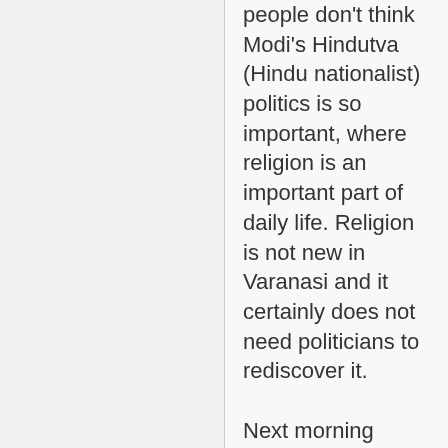people don't think Modi's Hindutva (Hindu nationalist) politics is so important, where religion is an important part of daily life. Religion is not new in Varanasi and it certainly does not need politicians to rediscover it.

Next morning